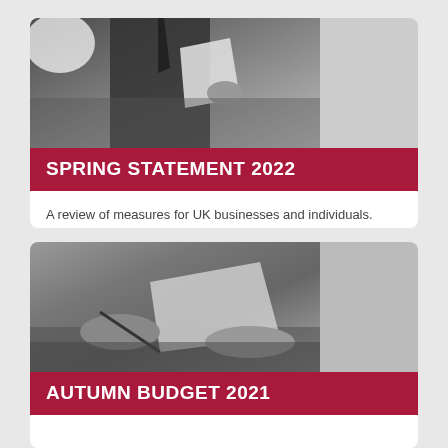[Figure (photo): Black and white photo of a man in a suit holding papers, with bright light in the background]
SPRING STATEMENT 2022
A review of measures for UK businesses and individuals.
[Figure (photo): Black and white photo of hands signing a document with a pen]
AUTUMN BUDGET 2021